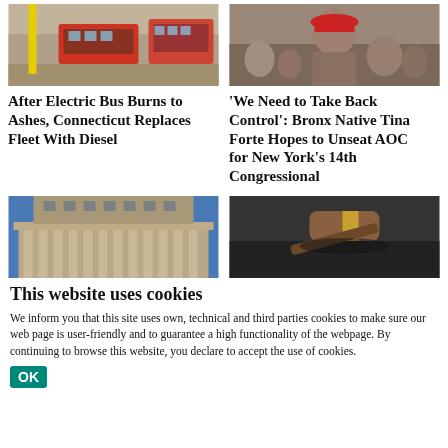[Figure (photo): Photo of electric buses or transit vehicles in a depot/yard setting]
[Figure (photo): Photo of a person wearing a red hat at what appears to be an event or rally]
After Electric Bus Burns to Ashes, Connecticut Replaces Fleet With Diesel
'We Need to Take Back Control': Bronx Native Tina Forte Hopes to Unseat AOC for New York's 14th Congressional
[Figure (photo): Photo of a large institutional building with columns under a blue sky]
[Figure (photo): Photo of a judge's gavel on a dark surface]
This website uses cookies
We inform you that this site uses own, technical and third parties cookies to make sure our web page is user-friendly and to guarantee a high functionality of the webpage. By continuing to browse this website, you declare to accept the use of cookies.
OK